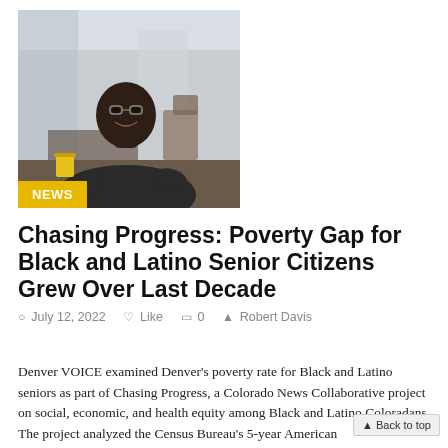[Figure (photo): A man sitting and smiling in what appears to be an indoor setting, wearing a dark hoodie. Yellow NEWS badge overlaid at bottom left of photo.]
Chasing Progress: Poverty Gap for Black and Latino Senior Citizens Grew Over Last Decade
July 12, 2022  Like  0  Robert Davis
Denver VOICE examined Denver's poverty rate for Black and Latino seniors as part of Chasing Progress, a Colorado News Collaborative project on social, economic, and health equity among Black and Latino Coloradans. The project analyzed the Census Bureau's 5-year American